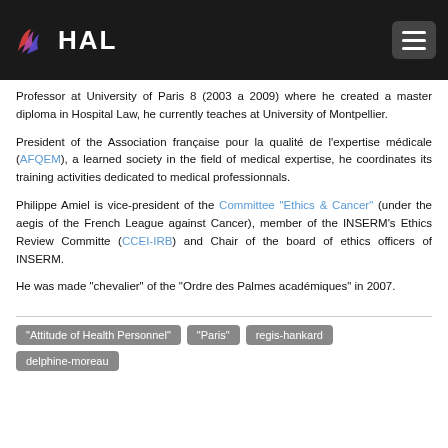HAL
Professor at University of Paris 8 (2003 a 2009) where he created a master diploma in Hospital Law, he currently teaches at University of Montpellier.
President of the Association française pour la qualité de l'expertise médicale (AFQEM), a learned society in the field of medical expertise, he coordinates its training activities dedicated to medical professionnals.
Philippe Amiel is vice-president of the Committee "Ethics & Cancer" (under the aegis of the French League against Cancer), member of the INSERM's Ethics Review Committe (CCEI-IRB) and Chair of the board of ethics officers of INSERM.
He was made "chevalier" of the "Ordre des Palmes académiques" in 2007.
"Attitude of Health Personnel"
"Paris"
regis-hankard
delphine-moreau